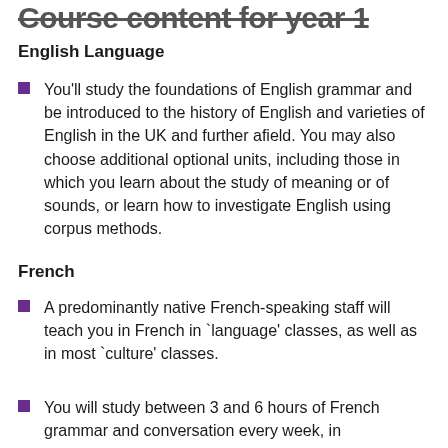Course content for year 1
English Language
You'll study the foundations of English grammar and be introduced to the history of English and varieties of English in the UK and further afield. You may also choose additional optional units, including those in which you learn about the study of meaning or of sounds, or learn how to investigate English using corpus methods.
French
A predominantly native French-speaking staff will teach you in French in `language' classes, as well as in most `culture' classes.
You will study between 3 and 6 hours of French grammar and conversation every week, in